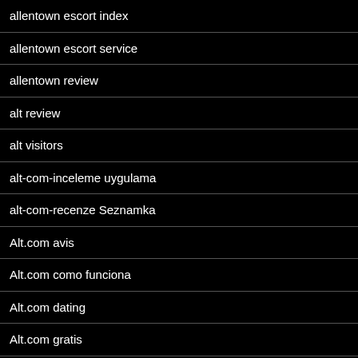allentown escort index
allentown escort service
allentown review
alt review
alt visitors
alt-com-inceleme uygulama
alt-com-recenze Seznamka
Alt.com avis
Alt.com como funciona
Alt.com dating
Alt.com gratis
Alt.com italia
Alt.com mobile site